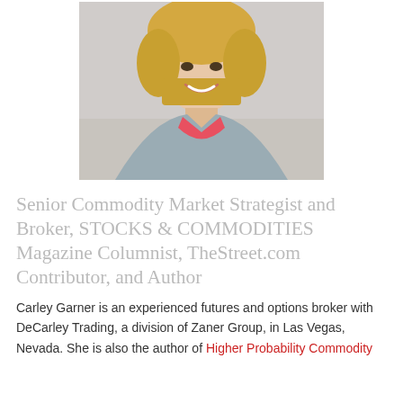[Figure (photo): Headshot photo of Carley Garner, a woman with short blonde hair wearing a grey blazer and coral/red top, smiling, against a grey background.]
Senior Commodity Market Strategist and Broker, STOCKS & COMMODITIES Magazine Columnist, TheStreet.com Contributor, and Author
Carley Garner is an experienced futures and options broker with DeCarley Trading, a division of Zaner Group, in Las Vegas, Nevada. She is also the author of Higher Probability Commodity